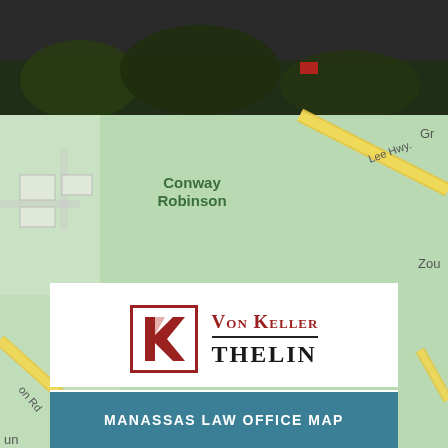[Figure (map): Google Maps aerial/street view background showing Conway Robinson area with Lee Hwy visible, green map tiles]
[Figure (logo): Von Keller Thelin law firm logo with red K in bordered square and firm name]
7930 Donegan Drive
Manassas, VA 20109
Phone: 703-659-0477
Fax: 703-361-2477
MANASSAS LAW OFFICE MAP